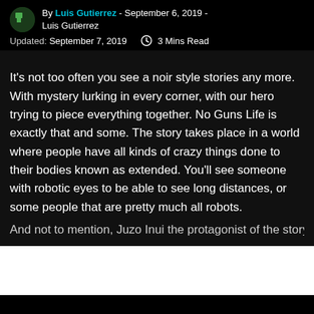By Luis Gutierrez - September 6, 2019 -
Luis Gutierrez
Updated: September 7, 2019  3 Mins Read
It's not too often you see a noir style stories any more. With mystery lurking in every corner, with our hero trying to piece everything together. No Guns Life is exactly that and some. The story takes place in a world where people have all kinds of crazy things done to their bodies known as extended. You'll see someone with robotic eyes to be able to see long distances, or some people that are pretty much all robots. And not to mention, Juzo Inui the protagonist of the story has